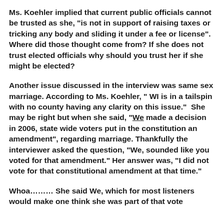Ms. Koehler implied that current public officials cannot be trusted as she, "is not in support of raising taxes or tricking any body and sliding it under a fee or license". Where did those thought come from? If she does not trust elected officials why should you trust her if she might be elected?
Another issue discussed in the interview was same sex marriage. According to Ms. Koehler, " WI is in a tailspin with no county having any clarity on this issue."  She may be right but when she said, "We made a decision in 2006, state wide voters put in the constitution an amendment", regarding marriage. Thankfully the interviewer asked the question, "We, sounded like you voted for that amendment." Her answer was, "I did not vote for that constitutional amendment at that time."
Whoa……… She said We, which for most listeners would make one think she was part of that vote